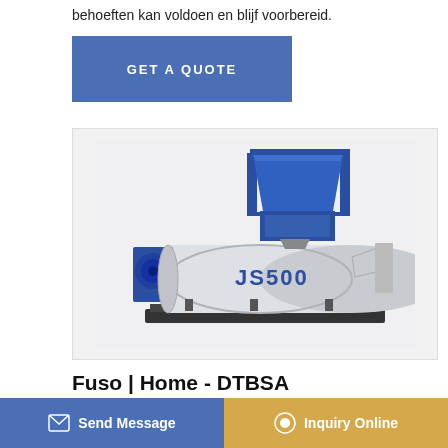behoeften kan voldoen en blijf voorbereid.
GET A QUOTE
[Figure (photo): Industrial concrete mixer machine labeled JS500, blue and white, with hopper unit on top and mixing drum at bottom.]
Fuso | Home - DTBSA
Trucks & Other Commercial Vehicles for Sell in Tanzania. Buy ... ia. Tru... tipper ... Scania, Leyland, All Companies Individuals.
Send Message
Inquiry Online